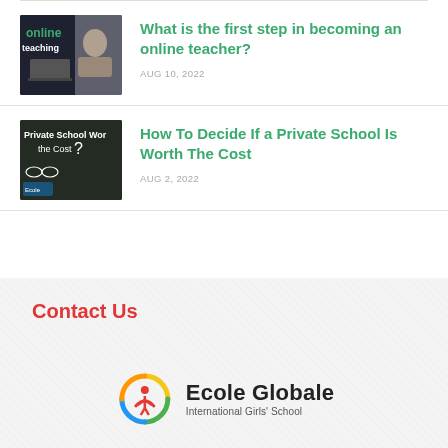[Figure (photo): Thumbnail image showing a person at a laptop with text 'online teaching']
What is the first step in becoming an online teacher?
AUG 10, 2022
[Figure (photo): Thumbnail image of a blackboard with text 'Private School Worth the Cost?']
How To Decide If a Private School Is Worth The Cost
AUG 2, 2022
Contact Us
[Figure (logo): Ecole Globale International Girls' School logo with colorful figure icon]